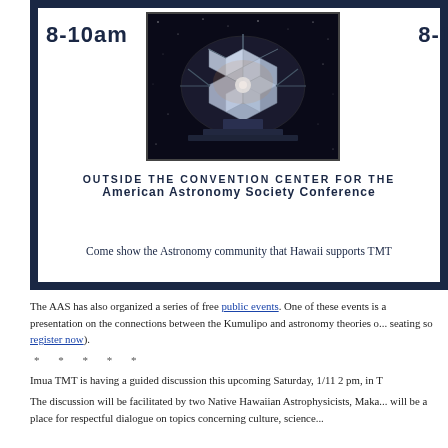[Figure (photo): Telescope (TMT or similar large observatory) image against a dark starry sky background, shown inside a white-bordered box within a dark navy banner]
8-10am
8-10am
OUTSIDE THE CONVENTION CENTER FOR THE AMERICAN ASTRONOMY SOCIETY CONFERENCE
Come show the Astronomy community that Hawaii supports TMT
The AAS has also organized a series of free public events. One of these events is a presentation on the connections between the Kumulipo and astronomy theories o... seating so register now).
* * * * *
Imua TMT is having a guided discussion this upcoming Saturday, 1/11 2 pm, in T
The discussion will be facilitated by two Native Hawaiian Astrophysicists, Maka... will be a place for respectful dialogue on topics concerning culture, science...